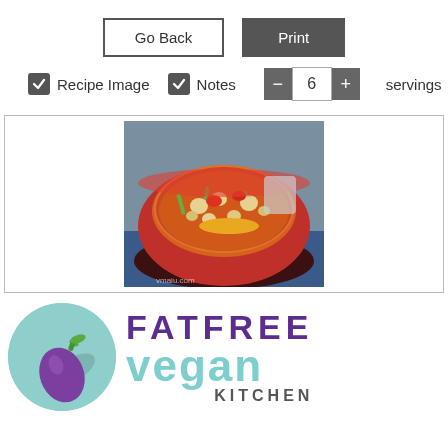[Figure (screenshot): Go Back button (outlined) and Print button (dark filled) side by side]
[Figure (screenshot): Options row with checkboxes for Recipe Image and Notes, and a servings counter showing 6]
[Figure (photo): Photo of a red ceramic bowl filled with vegetable soup (tomatoes, chickpeas, green beans, potatoes) on a blue surface]
[Figure (logo): Fat Free Vegan Kitchen logo: teal circle with eggplant icon, FATFREE in purple bold letters, vegan in teal large letters, KITCHEN in dark letters]